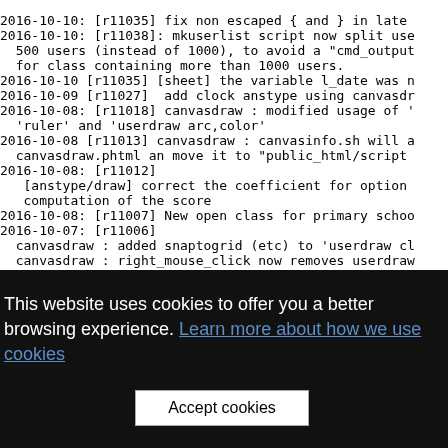2016-10-10: [r11035] fix non escaped { and } in latex
2016-10-10: [r11038]: mkuserlist script now split use
  500 users (instead of 1000), to avoid a "cmd_output
  for class containing more than 1000 users.
2016-10-10 [r11035] [sheet] the variable l_date was n
2016-10-09 [r11027]  add clock anstype using canvasdr
2016-10-08: [r11018] canvasdraw : modified usage of '
  'ruler' and 'userdraw arc,color'
2016-10-08 [r11013] canvasdraw : canvasinfo.sh will a
  canvasdraw.phtml an move it to "public_html/script
2016-10-08: [r11012]
  [anstype/draw] correct the coefficient for option
  computation of the score
2016-10-08: [r11007] New open class for primary schoo
2016-10-07: [r11006]
  canvasdraw : added snaptogrid (etc) to 'userdraw cl
  canvasdraw : right_mouse_click now removes userdraw
  without annoying 'on_contexmenu'
2016-10-06: [r11005] canvasdraw : moved command "clic
  to the userdraw command list e.g. "userdraw clickfi
2016-10-05: [r11004] canvasdraw : the "clearbutton so
This website uses cookies to offer you a better browsing experience. Learn more about how we use cookies
Accept cookies